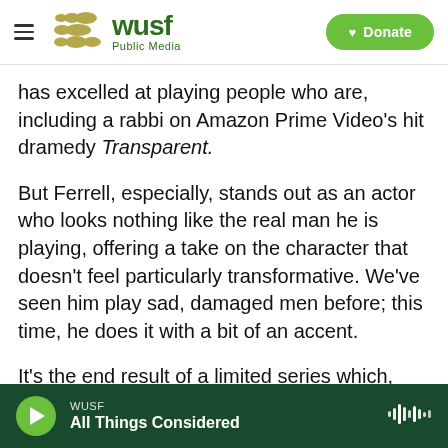WUSF Public Media | Donate
has excelled at playing people who are, including a rabbi on Amazon Prime Video's hit dramedy Transparent.
But Ferrell, especially, stands out as an actor who looks nothing like the real man he is playing, offering a take on the character that doesn't feel particularly transformative. We've seen him play sad, damaged men before; this time, he does it with a bit of an accent.
It's the end result of a limited series which, despite its length, too often hints at ideas which deserve
WUSF All Things Considered